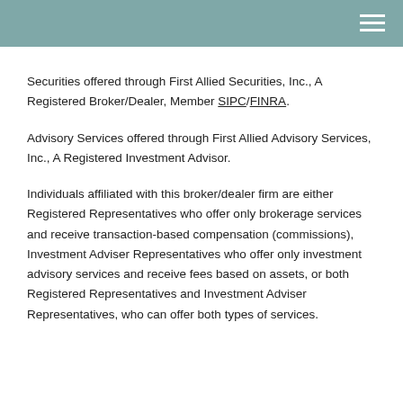Securities offered through First Allied Securities, Inc., A Registered Broker/Dealer, Member SIPC/FINRA.
Advisory Services offered through First Allied Advisory Services, Inc., A Registered Investment Advisor.
Individuals affiliated with this broker/dealer firm are either Registered Representatives who offer only brokerage services and receive transaction-based compensation (commissions), Investment Adviser Representatives who offer only investment advisory services and receive fees based on assets, or both Registered Representatives and Investment Adviser Representatives, who can offer both types of services.